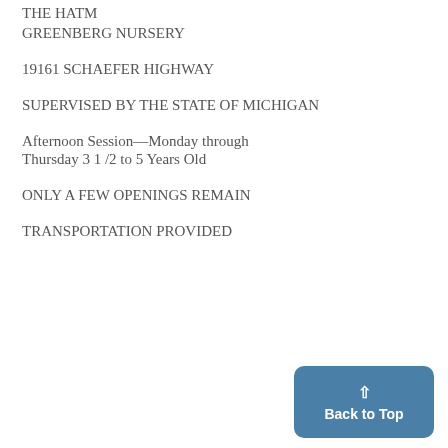THE HATM
GREENBERG NURSERY
19161 SCHAEFER HIGHWAY
SUPERVISED BY THE STATE OF MICHIGAN
Afternoon Session—Monday through Thursday 3 1 /2 to 5 Years Old
ONLY A FEW OPENINGS REMAIN
TRANSPORTATION PROVIDED